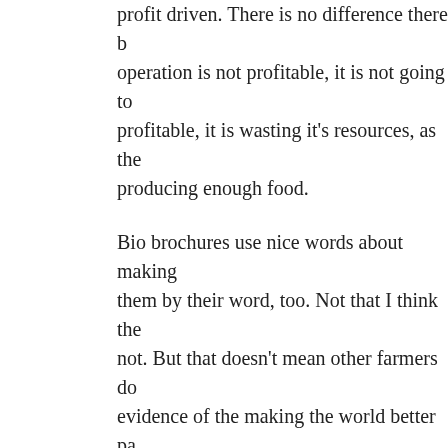profit driven. There is no difference there b… operation is not profitable, it is not going to… profitable, it is wasting it's resources, as th… producing enough food.
Bio brochures use nice words about making… them by their word, too. Not that I think the… not. But that doesn't mean other farmers do… evidence of the making the world better pa… mysticism. If they could actually show evid… measurable things like nutrient loss, yield, … listen. Notice the big meta-analysis on mor… Assumptions piece is specifically done on h…
What differences I have heard about betwe… may be some additional restrictions on pest… mostly. They all still allow pesticides, and p… something poisonous to plants and animals… between 'synthetic' and 'natural' has never…